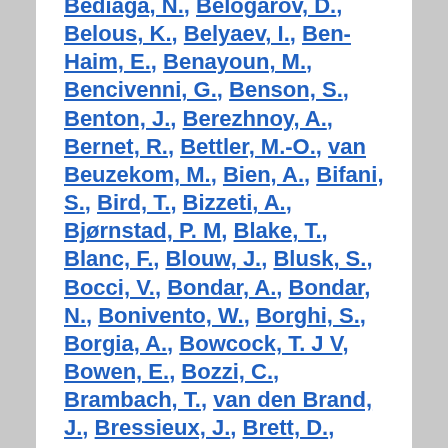Bediaga, N., Belogarov, D., Belous, K., Belyaev, I., Ben-Haim, E., Benayoun, M., Bencivenni, G., Benson, S., Benton, J., Berezhnoy, A., Bernet, R., Bettler, M.-O., van Beuzekom, M., Bien, A., Bifani, S., Bird, T., Bizzeti, A., Bjørnstad, P. M, Blake, T., Blanc, F., Blouw, J., Blusk, S., Bocci, V., Bondar, A., Bondar, N., Bonivento, W., Borghi, S., Borgia, A., Bowcock, T. J V, Bowen, E., Bozzi, C., Brambach, T., van den Brand, J., Bressieux, J., Brett, D., Britsch, M., Britton, T., Brook, N. H, Brown, H., Burducea, I., Bursche, A., Busetto, G., Buytaert, J., Cadeddu, S., Callot, O., Calvi, M., Calvo Gomez, M., Camboni, A., Campana, P., Campora Perez,